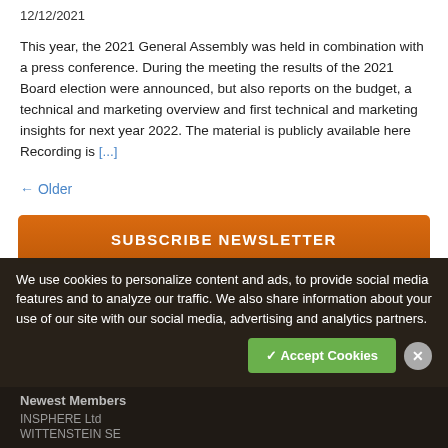12/12/2021
This year, the 2021 General Assembly was held in combination with a press conference. During the meeting the results of the 2021 Board election were announced, but also reports on the budget, a technical and marketing overview and first technical and marketing insights for next year 2022. The material is publicly available here Recording is [...]
← Older
SUBSCRIBE NEWSLETTER
We use cookies to personalize content and ads, to provide social media features and to analyze our traffic. We also share information about your use of our site with our social media, advertising and analytics partners.
✓ Accept Cookies
Newest Members
INSPHERE Ltd
WITTENSTEIN SE